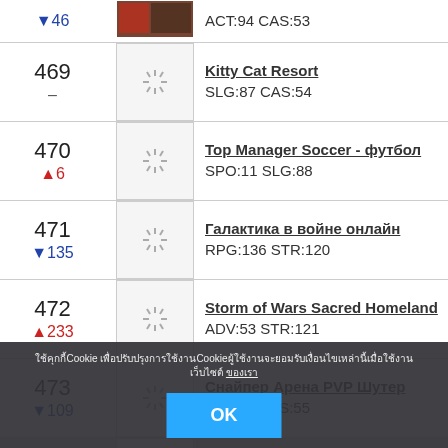| Rank | Icon | Info |
| --- | --- | --- |
| ▼46 | [image] | ACT:94 CAS:53 |
| 469 – | [loading] | Kitty Cat Resort
SLG:87 CAS:54 |
| 470 ▲6 | [loading] | Top Manager Soccer - футбол
SPO:11 SLG:88 |
| 471 ▼135 | [loading] | Галактика в войне онлайн
RPG:136 STR:120 |
| 472 ▲233 | [loading] | Storm of Wars❰ Sacred Homeland
ADV:53 STR:121 |
| 473 ▼109 | [loading] | Снайпер Арена❰ PVP Шутер
ACT:95 CAS:55 |
| 474 ▼68 | [loading] | Аэрокухня
ACT:96 CAS:56 |
| 475 ▲136 | [loading] | TRAIL CLIMB
RAC:8 CAS:... |
Cookie notice overlay with OK button